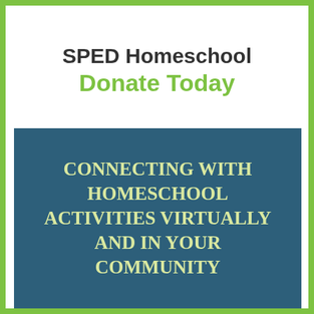SPED Homeschool
Donate Today
[Figure (infographic): Dark teal/blue box with large handwritten-style uppercase text reading: CONNECTING WITH HOMESCHOOL ACTIVITIES VIRTUALLY AND IN YOUR COMMUNITY]